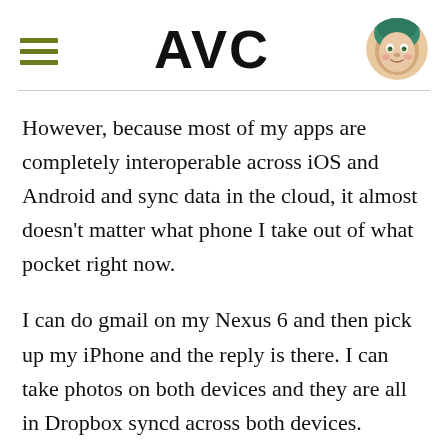AVC
However, because most of my apps are completely interoperable across iOS and Android and sync data in the cloud, it almost doesn't matter what phone I take out of what pocket right now.
I can do gmail on my Nexus 6 and then pick up my iPhone and the reply is there. I can take photos on both devices and they are all in Dropbox syncd across both devices. Instagram Snapchat and Twitter work identically on both platforms and it doesn't matter which device I use to access them.